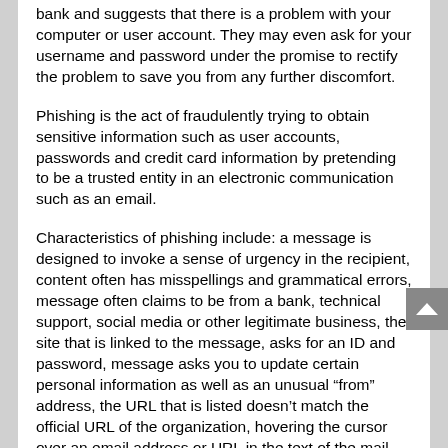bank and suggests that there is a problem with your computer or user account. They may even ask for your username and password under the promise to rectify the problem to save you from any further discomfort.
Phishing is the act of fraudulently trying to obtain sensitive information such as user accounts, passwords and credit card information by pretending to be a trusted entity in an electronic communication such as an email.
Characteristics of phishing include: a message is designed to invoke a sense of urgency in the recipient, content often has misspellings and grammatical errors, message often claims to be from a bank, technical support, social media or other legitimate business, the site that is linked to the message, asks for an ID and password, message asks you to update certain personal information as well as an unusual “from” address, the URL that is listed doesn’t match the official URL of the organization, hovering the cursor over an email address or URL in the text of the mail will show the true address or URL